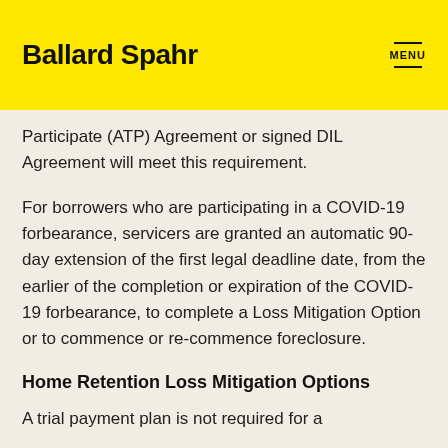Ballard Spahr
Participate (ATP) Agreement or signed DIL Agreement will meet this requirement.
For borrowers who are participating in a COVID-19 forbearance, servicers are granted an automatic 90-day extension of the first legal deadline date, from the earlier of the completion or expiration of the COVID-19 forbearance, to complete a Loss Mitigation Option or to commence or re-commence foreclosure.
Home Retention Loss Mitigation Options
A trial payment plan is not required for a